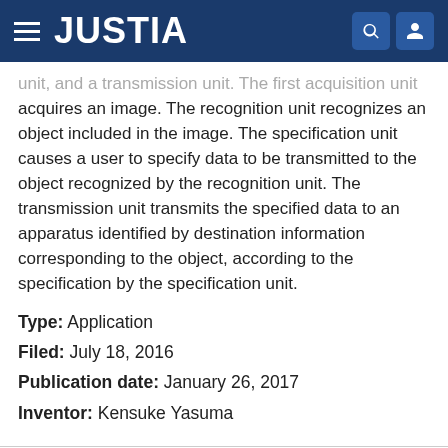JUSTIA
unit, and a transmission unit. The first acquisition unit acquires an image. The recognition unit recognizes an object included in the image. The specification unit causes a user to specify data to be transmitted to the object recognized by the recognition unit. The transmission unit transmits the specified data to an apparatus identified by destination information corresponding to the object, according to the specification by the specification unit.
Type: Application
Filed: July 18, 2016
Publication date: January 26, 2017
Inventor: Kensuke Yasuma
1 2 3 NEXT